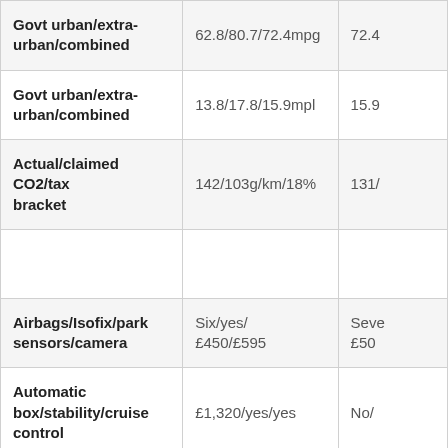|  | Column 1 | Column 2 |
| --- | --- | --- |
| Govt urban/extra-urban/combined | 62.8/80.7/72.4mpg | 72.4… |
| Govt urban/extra-urban/combined | 13.8/17.8/15.9mpl | 15.9… |
| Actual/claimed CO2/tax bracket | 142/103g/km/18% | 131/… |
|  |  |  |
| Airbags/Isofix/park sensors/camera | Six/yes/
£450/£595 | Seve…
£50… |
| Automatic box/stability/cruise control | £1,320/yes/yes | No/… |